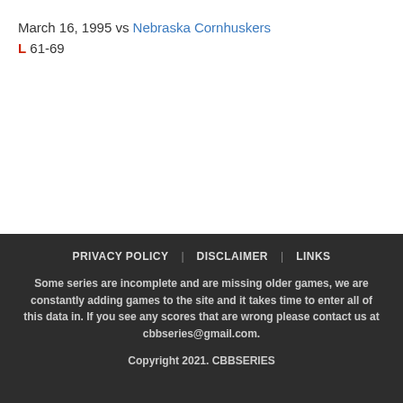March 16, 1995 vs Nebraska Cornhuskers
L 61-69
PRIVACY POLICY   DISCLAIMER   LINKS

Some series are incomplete and are missing older games, we are constantly adding games to the site and it takes time to enter all of this data in. If you see any scores that are wrong please contact us at cbbseries@gmail.com.

Copyright 2021. CBBSERIES